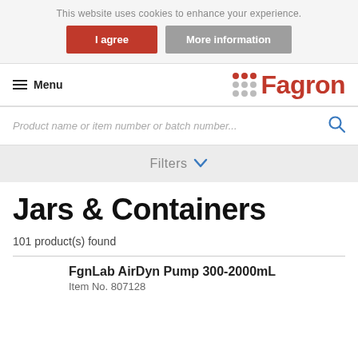This website uses cookies to enhance your experience.
I agree
More information
Menu  ⠿ Fagron
Product name or item number or batch number...
Filters
Jars & Containers
101 product(s) found
FgnLab AirDyn Pump 300-2000mL
Item No. 807128